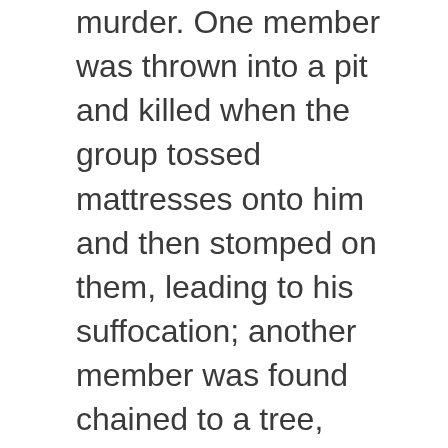murder. One member was thrown into a pit and killed when the group tossed mattresses onto him and then stomped on them, leading to his suffocation; another member was found chained to a tree, beaten and trampled to death in early 1761. Weber was convicted of murder for these acts and hanged in Charleston, though by then the cult had already spread to North Carolina, Virginia, and Maryland.
When the Reverend Theus died in 1789, he was buried in Saxe-Gotha. Abraham Geiger, a friend of the minister as well as a parishioner of Zion Church, served by the Reverend Theus, had a gravestone erected